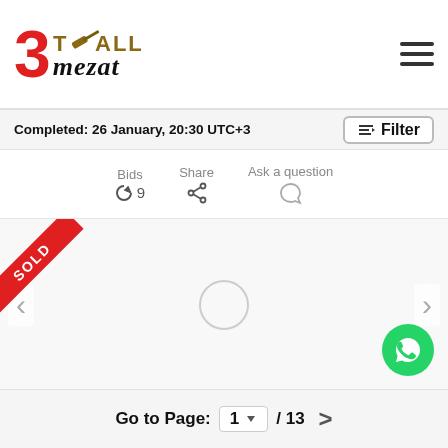[Figure (logo): 3TallMezat auction website logo with red number 3, gavel icon, and stylized text]
Completed: 26 January, 20:30 UTC+3
Filter
Bids
9
Share
Ask a question
[Figure (photo): Auction item image area showing a SOLD ribbon in the top-left corner and a loading spinner circle in the center. Navigation arrows on left and right sides. WhatsApp contact button bottom-right.]
Go to Page:  1  ▼  / 13  >